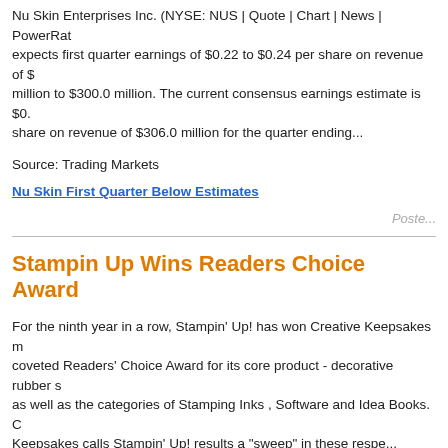Nu Skin Enterprises Inc. (NYSE: NUS | Quote | Chart | News | PowerRat... expects first quarter earnings of $0.22 to $0.24 per share on revenue of $... million to $300.0 million. The current consensus earnings estimate is $0.... share on revenue of $306.0 million for the quarter ending...
Source: Trading Markets
Nu Skin First Quarter Below Estimates
Poste...
Stampin Up Wins Readers Choice Award
For the ninth year in a row, Stampin' Up! has won Creative Keepsakes m... coveted Readers' Choice Award for its core product - decorative rubber s... as well as the categories of Stamping Inks , Software and Idea Books. C... Keepsakes calls Stampin' Up! results a "sweep" in these respe...
Source: Press Release
Stampin Up Wins Readers Choice Award
Poste...
Zrii Issues Statement